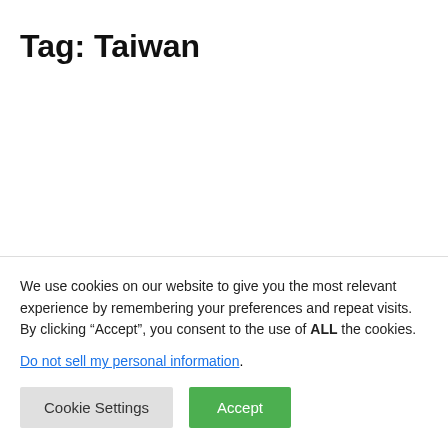Tag: Taiwan
We use cookies on our website to give you the most relevant experience by remembering your preferences and repeat visits. By clicking “Accept”, you consent to the use of ALL the cookies.
Do not sell my personal information.